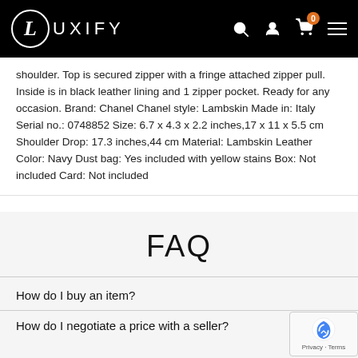LUXIFY
shoulder. Top is secured zipper with a fringe attached zipper pull. Inside is in black leather lining and 1 zipper pocket. Ready for any occasion. Brand: Chanel Chanel style: Lambskin Made in: Italy Serial no.: 0748852 Size: 6.7 x 4.3 x 2.2 inches,17 x 11 x 5.5 cm Shoulder Drop: 17.3 inches,44 cm Material: Lambskin Leather Color: Navy Dust bag: Yes included with yellow stains Box: Not included Card: Not included
FAQ
How do I buy an item?
How do I negotiate a price with a seller?